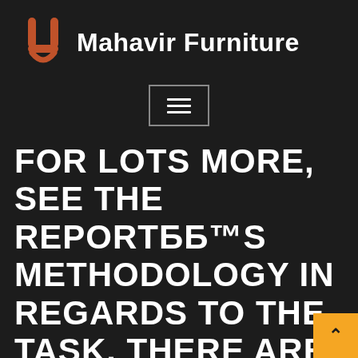[Figure (logo): Mahavir Furniture logo: orange stylized tuning fork / furniture icon on dark background with white bold brand name text]
[Figure (other): Hamburger menu button with three horizontal white lines inside a rectangular border]
FOR LOTS MORE, SEE THE REPORT'S METHODOLOGY IN REGARDS TO THE TASK. THERE ARE ALSO THE RELEVANT CONCERNS ASKED, AND ALSO THE